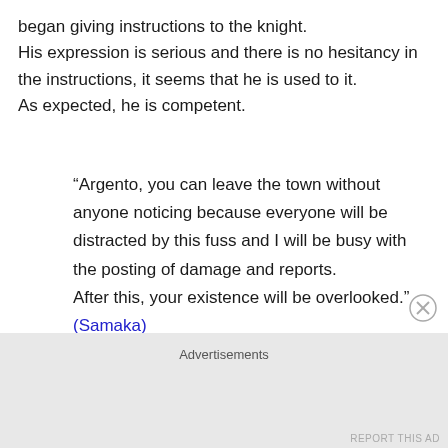began giving instructions to the knight. His expression is serious and there is no hesitancy in the instructions, it seems that he is used to it. As expected, he is competent.
“Argento, you can leave the town without anyone noticing because everyone will be distracted by this fuss and I will be busy with the posting of damage and reports. After this, your existence will be overlooked.” (Samaka)
Advertisements